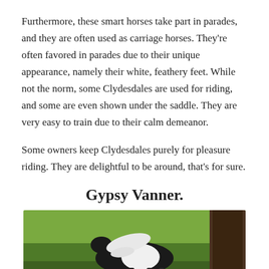Furthermore, these smart horses take part in parades, and they are often used as carriage horses. They're often favored in parades due to their unique appearance, namely their white, feathery feet. While not the norm, some Clydesdales are used for riding, and some are even shown under the saddle. They are very easy to train due to their calm demeanor.
Some owners keep Clydesdales purely for pleasure riding. They are delightful to be around, that's for sure.
Gypsy Vanner.
[Figure (photo): A Gypsy Vanner horse with black and white coloring and flowing mane, running on green grass with a tree visible on the right side.]